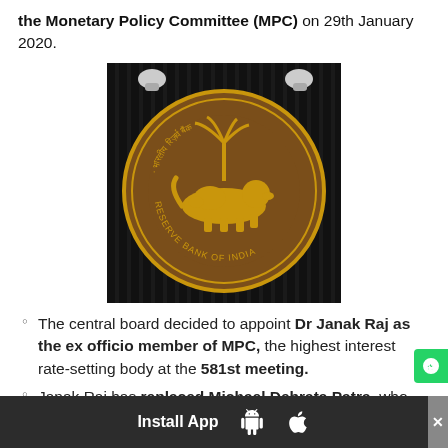the Monetary Policy Committee (MPC) on 29th January 2020.
[Figure (photo): Reserve Bank of India emblem/seal on a dark background — a circular gold medallion featuring a tiger, palm tree, and text 'RESERVE BANK OF INDIA' and Hindi text, mounted on a dark ribbed wall with security cameras visible at top.]
The central board decided to appoint Dr Janak Raj as the ex officio member of MPC, the highest interest rate-setting body at the 581st meeting.
Janak Raj has replaced Michael Debrata Patra, who was recently elevated as Deputy Governor of the RBI.
Install App  [Android]  [Apple]  ×